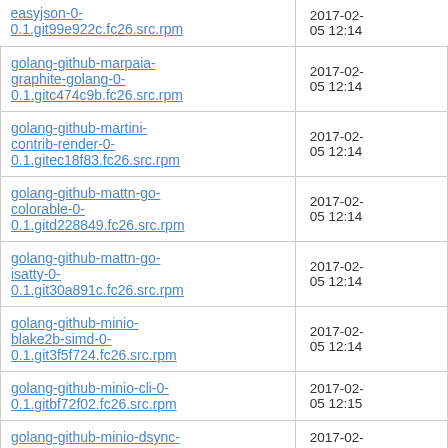| Filename | Date |
| --- | --- |
| easyjson-0-0.1.git99e922c.fc26.src.rpm | 2017-02-05 12:14 |
| golang-github-marpaia-graphite-golang-0-0.1.gitc474c9b.fc26.src.rpm | 2017-02-05 12:14 |
| golang-github-martini-contrib-render-0-0.1.gitec18f83.fc26.src.rpm | 2017-02-05 12:14 |
| golang-github-mattn-go-colorable-0-0.1.gitd228849.fc26.src.rpm | 2017-02-05 12:14 |
| golang-github-mattn-go-isatty-0-0.1.git30a891c.fc26.src.rpm | 2017-02-05 12:14 |
| golang-github-minio-blake2b-simd-0-0.1.git3f5f724.fc26.src.rpm | 2017-02-05 12:14 |
| golang-github-minio-cli-0-0.1.gitbf72f02.fc26.src.rpm | 2017-02-05 12:15 |
| golang-github-minio-dsync-0- | 2017-02-05 12:1 |